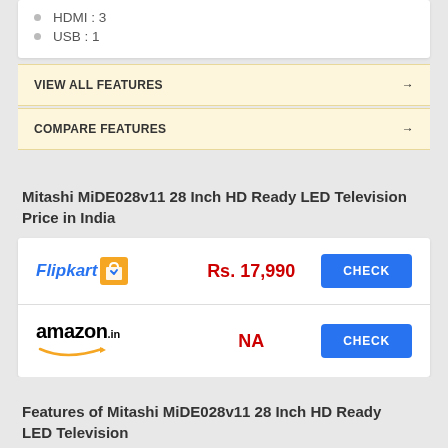HDMI : 3
USB : 1
VIEW ALL FEATURES →
COMPARE FEATURES →
Mitashi MiDE028v11 28 Inch HD Ready LED Television Price in India
| Store | Price | Action |
| --- | --- | --- |
| Flipkart | Rs. 17,990 | CHECK |
| Amazon.in | NA | CHECK |
Features of Mitashi MiDE028v11 28 Inch HD Ready LED Television